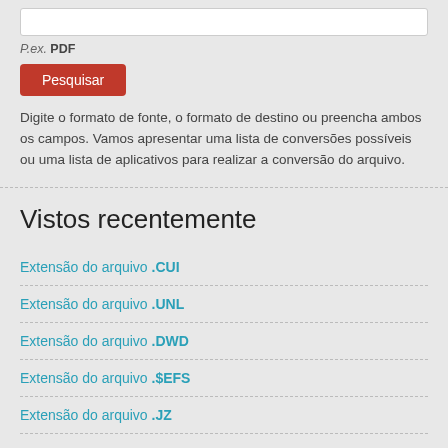P.ex. PDF
Pesquisar
Digite o formato de fonte, o formato de destino ou preencha ambos os campos. Vamos apresentar uma lista de conversões possíveis ou uma lista de aplicativos para realizar a conversão do arquivo.
Vistos recentemente
Extensão do arquivo .CUI
Extensão do arquivo .UNL
Extensão do arquivo .DWD
Extensão do arquivo .$EFS
Extensão do arquivo .JZ